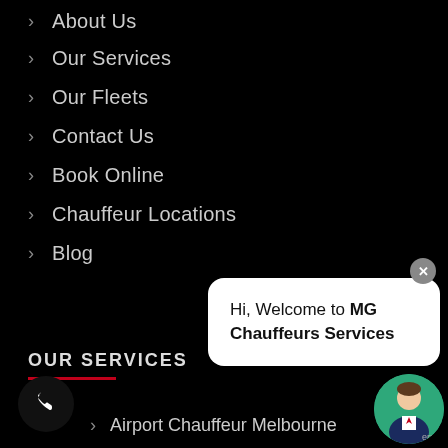About Us
Our Services
Our Fleets
Contact Us
Book Online
Chauffeur Locations
Blog
OUR SERVICES
[Figure (screenshot): Chat widget bubble reading: Hi, Welcome to MG Chauffeurs Services]
Airport Chauffeur Melbourne